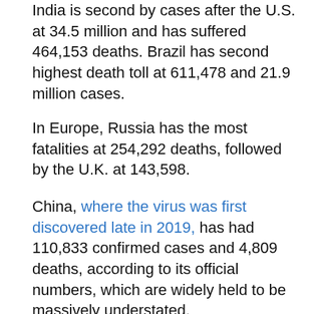India is second by cases after the U.S. at 34.5 million and has suffered 464,153 deaths. Brazil has second highest death toll at 611,478 and 21.9 million cases.
In Europe, Russia has the most fatalities at 254,292 deaths, followed by the U.K. at 143,598.
China, where the virus was first discovered late in 2019, has had 110,833 confirmed cases and 4,809 deaths, according to its official numbers, which are widely held to be massively understated.
.wsj-interactive.generic-iframe-embed[name="cases"] { height: px; margin-bottom: 5px; } body.at4units .inline .wsj-interactive.generic-iframe-embed[name="cases"], body.at4units .offset .wsj-interactive.generic-iframe-embed[name="cases"], body.at4units .header .wsj-